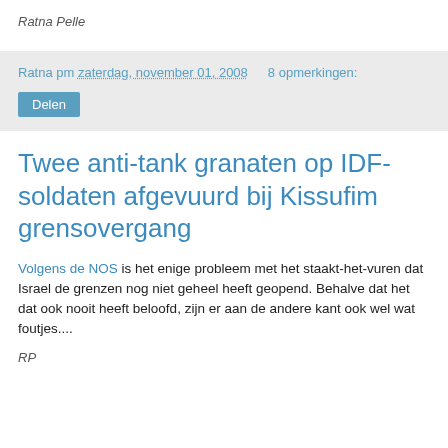Ratna Pelle
Ratna pm zaterdag, november 01, 2008   8 opmerkingen:
Delen
Twee anti-tank granaten op IDF-soldaten afgevuurd bij Kissufim grensovergang
Volgens de NOS is het enige probleem met het staakt-het-vuren dat Israel de grenzen nog niet geheel heeft geopend. Behalve dat het dat ook nooit heeft beloofd, zijn er aan de andere kant ook wel wat foutjes....
RP